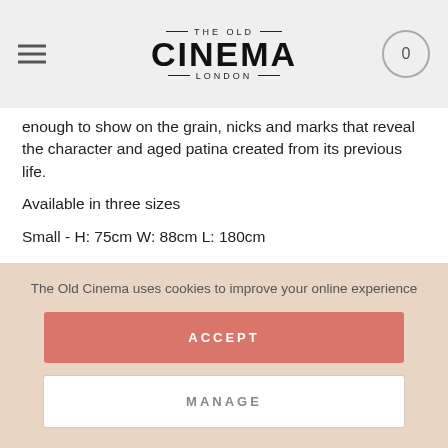THE OLD CINEMA LONDON — navigation header with hamburger menu and cart icon showing 0
enough to show on the grain, nicks and marks that reveal the character and aged patina created from its previous life.
Available in three sizes
Small - H: 75cm W: 88cm L: 180cm
Medium - H: 75cm W: 88cm L: 200cm
Large - H: 75cm W: 88cm L: 240cm
Please note there is a 4-6 week lead time on all Rust Collection
The Old Cinema uses cookies to improve your online experience
ACCEPT
MANAGE